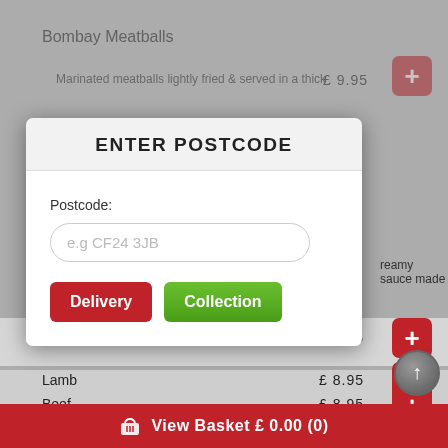Bombay Meatballs
Marinated meatballs lightly fried & served in a thick
£ 9.95
[Figure (screenshot): Modal dialog with ENTER POSTCODE heading, postcode input field with placeholder 'e.g CF24 3JB', Delivery (red) and Collection (green) buttons]
reamy sauce made
£ 8.95
Lamb
£ 8.95
Beef
£ 8.95
View Basket £ 0.00 (0)